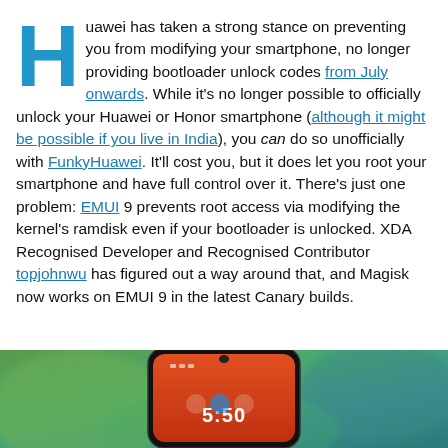Huawei has taken a strong stance on preventing you from modifying your smartphone, no longer providing bootloader unlock codes from July onwards. While it's no longer possible to officially unlock your Huawei or Honor smartphone (although it might be possible if you live in India), you can do so unofficially with FunkyHuawei. It'll cost you, but it does let you root your smartphone and have full control over it. There's just one problem: EMUI 9 prevents root access via modifying the kernel's ramdisk even if your bootloader is unlocked. XDA Recognised Developer and Recognised Contributor topjohnwu has figured out a way around that, and Magisk now works on EMUI 9 in the latest Canary builds.
[Figure (photo): Bottom portion of a smartphone photo against a green/teal blurred background, showing a device with a display showing 5:50 time.]